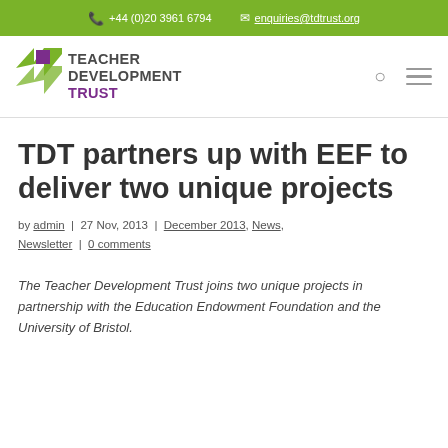+44 (0)20 3961 6794  enquiries@tdtrust.org
[Figure (logo): Teacher Development Trust logo with green arrow icon and purple/dark text]
TDT partners up with EEF to deliver two unique projects
by admin | 27 Nov, 2013 | December 2013, News, Newsletter | 0 comments
The Teacher Development Trust joins two unique projects in partnership with the Education Endowment Foundation and the University of Bristol.